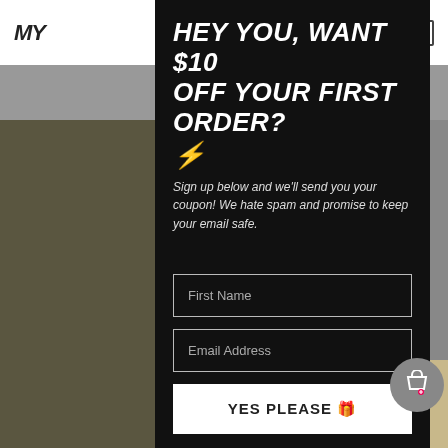[Figure (screenshot): Website background with logo 'MY' in top-left corner, navigation icons, a gray bar, and a dark olive product image area below.]
HEY YOU, WANT $10 OFF YOUR FIRST ORDER? ⚡
Sign up below and we'll send you your coupon! We hate spam and promise to keep your email safe.
First Name (input field placeholder)
Email Address (input field placeholder)
YES PLEASE 🎁